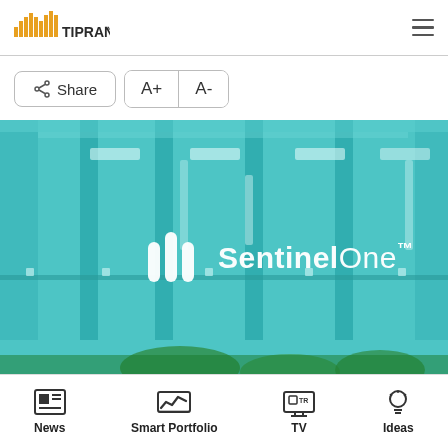TipRanks
[Figure (screenshot): Share button and font size controls (A+ and A-)]
[Figure (photo): SentinelOne office building exterior with teal glass facade and SentinelOne logo]
News | Smart Portfolio | TV | Ideas